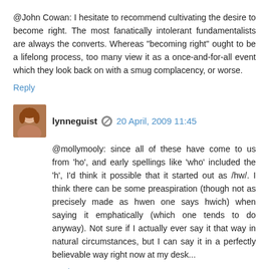@John Cowan: I hesitate to recommend cultivating the desire to become right. The most fanatically intolerant fundamentalists are always the converts. Whereas "becoming right" ought to be a lifelong process, too many view it as a once-and-for-all event which they look back on with a smug complacency, or worse.
Reply
lynneguist  20 April, 2009 11:45
@mollymooly: since all of these have come to us from 'ho', and early spellings like 'who' included the 'h', I'd think it possible that it started out as /hw/. I think there can be some preaspiration (though not as precisely made as hwen one says hwich) when saying it emphatically (which one tends to do anyway). Not sure if I actually ever say it that way in natural circumstances, but I can say it in a perfectly believable way right now at my desk...
Reply